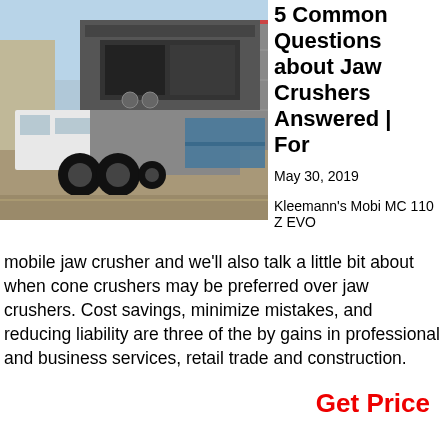[Figure (photo): Kleemann's Mobi MC 110 Z EVO mobile jaw crusher on a truck at an industrial site.]
5 Common Questions about Jaw Crushers Answered | For
May 30, 2019
Kleemann's Mobi MC 110 Z EVO
mobile jaw crusher and we'll also talk a little bit about when cone crushers may be preferred over jaw crushers. Cost savings, minimize mistakes, and reducing liability are three of the by gains in professional and business services, retail trade and construction.
Get Price